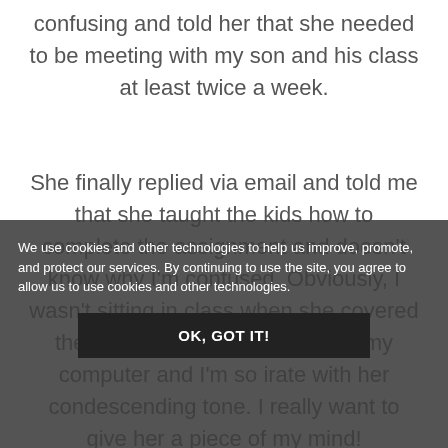confusing and told her that she needed to be meeting with my son and his class at least twice a week.

She finally replied via email and told me that she taught the kids how to complete the assignment and doesn't know why I'm confused. Obviously, I wasn't sitting in class when she covered the subject matter. I'm sitting at my computer and I'm so irate with her condescending tone. I really want to give her a piece of my mind!
We use cookies and other technologies to help us improve, promote, and protect our services. By continuing to use the site, you agree to allow us to use cookies and other technologies.